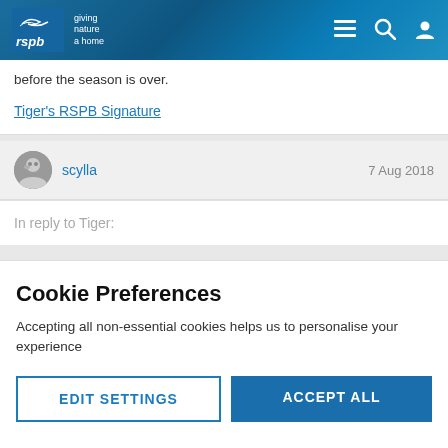rspb giving nature a home
before the season is over.
Tiger's RSPB Signature
scylla  7 Aug 2018
In reply to Tiger:
Cookie Preferences
Accepting all non-essential cookies helps us to personalise your experience
EDIT SETTINGS
ACCEPT ALL